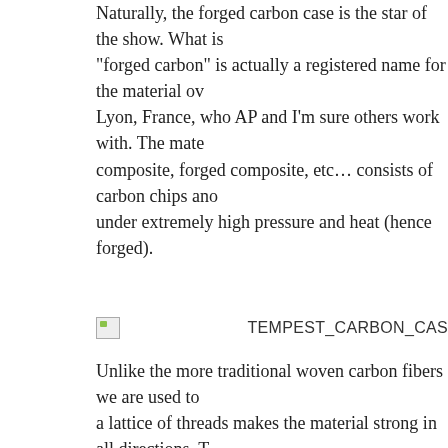Naturally, the forged carbon case is the star of the show. What is "forged carbon" is actually a registered name for the material ov Lyon, France, who AP and I'm sure others work with. The mate composite, forged composite, etc… consists of carbon chips ano under extremely high pressure and heat (hence forged).
[Figure (photo): Broken image placeholder with label TEMPEST_CARBON_CAS]
Unlike the more traditional woven carbon fibers we are used to a lattice of threads makes the material strong in all directions. T randomly marbled appearance, and allows for it to be finely ma case needs to be. And like carbon-fibers, the forged composites
In person, it truly is something to see. While at this time I don't "better" than anything else, it certainly is different enough to wa to be a nice black alternative. It's at least as light as titanium, so it's vastly more beautiful, exotic and durable than a plastic woul in look and feel, as it too has a soft surface, and lightweight… b carbon is not. The swirling graphite colors might not interest ev